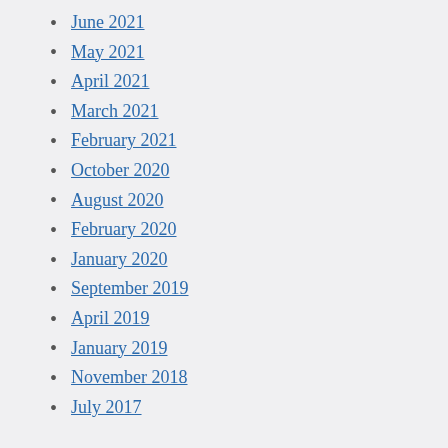June 2021
May 2021
April 2021
March 2021
February 2021
October 2020
August 2020
February 2020
January 2020
September 2019
April 2019
January 2019
November 2018
July 2017